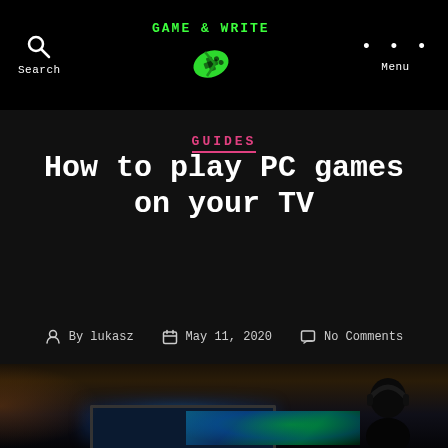GAME & WRITE — Search, Logo, Menu navigation bar
GUIDES
How to play PC games on your TV
By lukasz   May 11, 2020   No Comments
[Figure (photo): Dark photo of a person sitting in front of a TV/monitor displaying a colorful game, viewed from behind in a darkened room with warm ambient lighting]